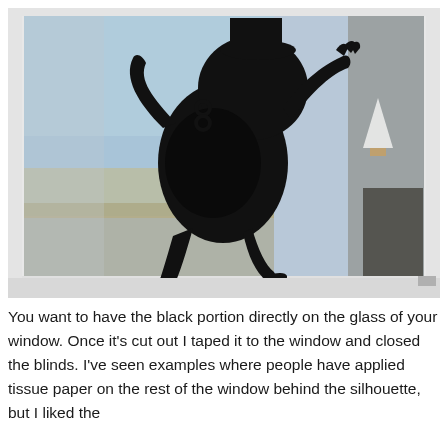[Figure (photo): A black silhouette of a figure (resembling a Grinch character) with arms raised and legs bent, affixed to a glass window. Through the window, a flat landscape with a blue sky is visible. The window has a white frame. On the right side of the silhouette, there appears to be a small white triangular shape. The interior shows some furniture or equipment.]
You want to have the black portion directly on the glass of your window. Once it's cut out I taped it to the window and closed the blinds. I've seen examples where people have applied tissue paper on the rest of the window behind the silhouette, but I liked the